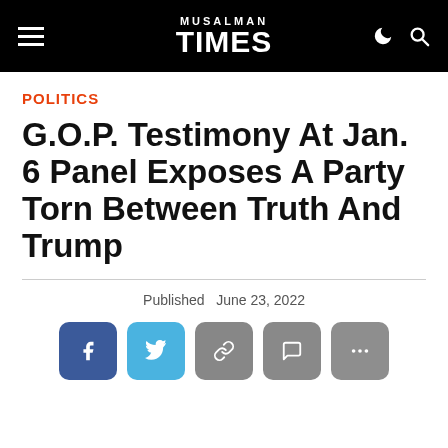MUSALMAN TIMES
POLITICS
G.O.P. Testimony At Jan. 6 Panel Exposes A Party Torn Between Truth And Trump
Published  June 23, 2022